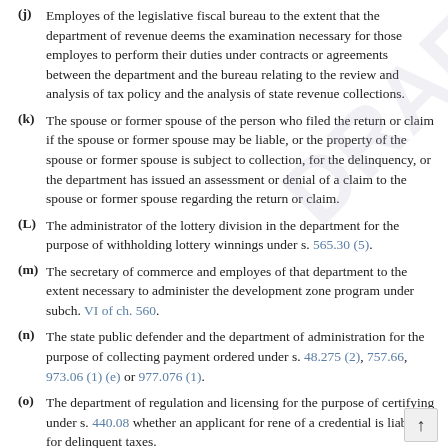(j) Employes of the legislative fiscal bureau to the extent that the department of revenue deems the examination necessary for those employes to perform their duties under contracts or agreements between the department and the bureau relating to the review and analysis of tax policy and the analysis of state revenue collections.
(k) The spouse or former spouse of the person who filed the return or claim if the spouse or former spouse may be liable, or the property of the spouse or former spouse is subject to collection, for the delinquency, or the department has issued an assessment or denial of a claim to the spouse or former spouse regarding the return or claim.
(L) The administrator of the lottery division in the department for the purpose of withholding lottery winnings under s. 565.30 (5).
(m) The secretary of commerce and employes of that department to the extent necessary to administer the development zone program under subch. VI of ch. 560.
(n) The state public defender and the department of administration for the purpose of collecting payment ordered under s. 48.275 (2), 757.66, 973.06 (1) (e) or 977.076 (1).
(o) The department of regulation and licensing for the purpose of certifying under s. 440.08 whether an applicant for renewal of a credential is liable for delinquent taxes.